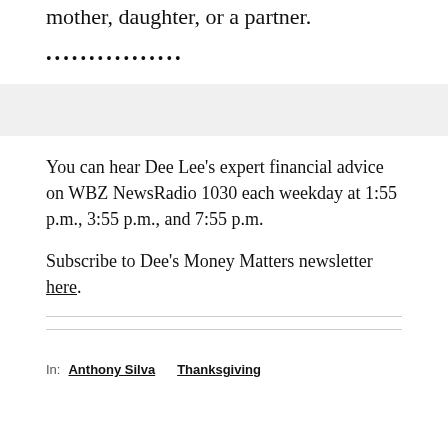mother, daughter, or a partner.
..................
You can hear Dee Lee's expert financial advice on WBZ NewsRadio 1030 each weekday at 1:55 p.m., 3:55 p.m., and 7:55 p.m.
Subscribe to Dee's Money Matters newsletter here.
In:  Anthony Silva  Thanksgiving